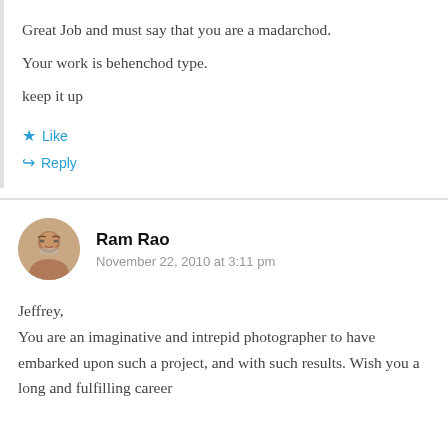Great Job and must say that you are a madarchod. Your work is behenchod type. keep it up
★ Like
↳ Reply
Ram Rao
November 22, 2010 at 3:11 pm
Jeffrey,
You are an imaginative and intrepid photographer to have embarked upon such a project, and with such results. Wish you a long and fulfilling career